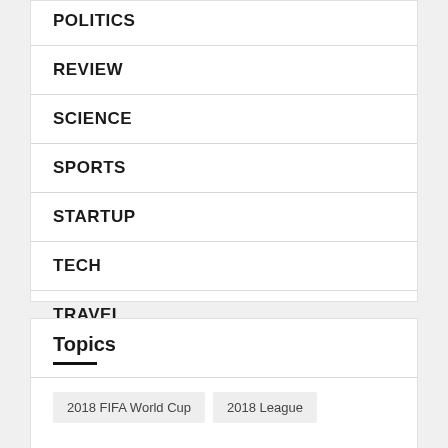POLITICS
REVIEW
SCIENCE
SPORTS
STARTUP
TECH
TRAVEL
WORLD
Topics
2018 FIFA World Cup
2018 League